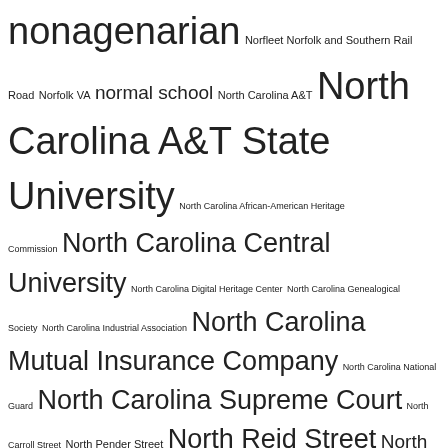nonagenarian Norfleet Norfolk and Southern Rail Road Norfolk VA normal school North Carolina A&T North Carolina A&T State University North Carolina African-American Heritage Commission North Carolina Central University North Carolina Digital Heritage Center North Carolina Genealogical Society North Carolina Industrial Association North Carolina Mutual Insurance Company North Carolina National Guard North Carolina Supreme Court North Carroll Street North Pender Street North Reid Street North Vick Street Norwood notice of sale numbers nun Nunn nurse nursery school nursing home nutrition O'Daniel O'Neil Oakdale cemetery Oaklawn cemetery Oates Oats obelisk Obery Obey obituary Oblate Sisters of Providence occupation occupied Japan octogenarian Odd Fellows Odd Fellows cemetery Odd Fellows Cemt Odum Office of State Archaeology oil mill Oklahoma Old Fields township Oliver Moore Omega Psi Phi fraternity one-